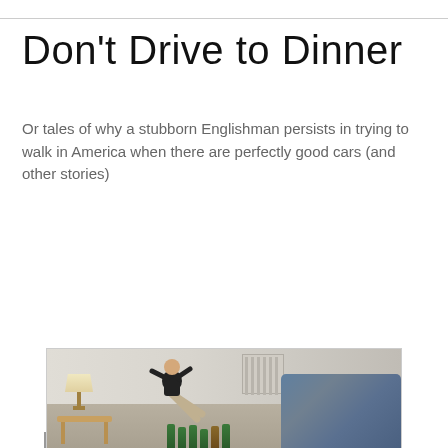Don't Drive to Dinner
Or tales of why a stubborn Englishman persists in trying to walk in America when there are perfectly good cars (and other stories)
Thursday, 10 July 2014
Making plans for BBQ (pt3) - Planes, trains and automobiles (and hotels)
[Figure (photo): Man relaxing on a floral sofa in a hotel room, raising a glass, with beer bottles in the foreground, a lamp and small table to the left, and a radiator on the wall behind him.]